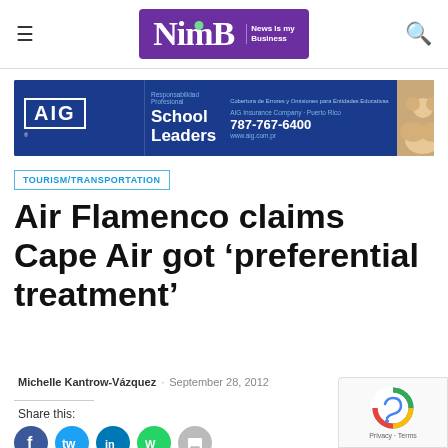NimB News Is my Business
[Figure (logo): AIG School Leaders insurance banner ad. Blue background with AIG logo, text 'Responsabilidad Profesional School Leaders', 'Cobertura de Errores y Omisiones para Entidades Educativas', 'AIG Insurance Company - Puerto Rico', '787-767-6400', 'www.aig.com.pr']
TOURISM/TRANSPORTATION
Air Flamenco claims Cape Air got ‘preferential treatment’
Michelle Kantrow-Vázquez · September 28, 2012
Share this: